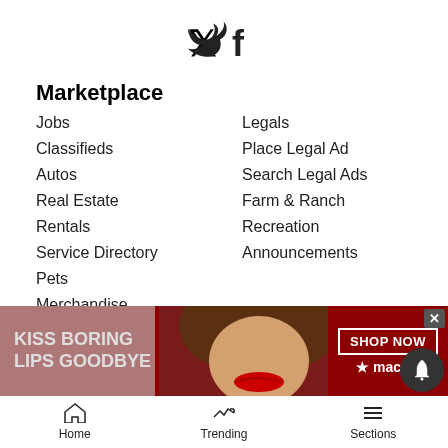[Figure (logo): Twitter and Facebook social media icons]
Marketplace
Jobs
Legals
Classifieds
Place Legal Ad
Autos
Search Legal Ads
Real Estate
Farm & Ranch
Rentals
Recreation
Service Directory
Announcements
Pets
Merchandise
Reader Tools
Contact Us
Buy Photos
Become a Carrier
Commercial Print Sales
Submissions
RSS
Submit a...
Crime St...
[Figure (illustration): Macy's advertisement banner: KISS BORING LIPS GOODBYE, SHOP NOW, macys logo]
Home  Trending  Sections